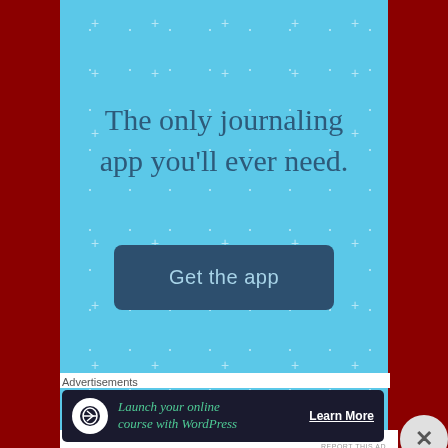[Figure (infographic): Advertisement for a journaling app. Light blue background with subtle plus/cross pattern. Large text reads 'The only journaling app you'll ever need.' A dark teal button labeled 'Get the app' appears below the text.]
REPORT THIS AD
Advertisements
[Figure (infographic): Dark-themed banner advertisement for WordPress online course. Shows icon, green italic text 'Launch your online course with WordPress' and a 'Learn More' button.]
REPORT THIS AD